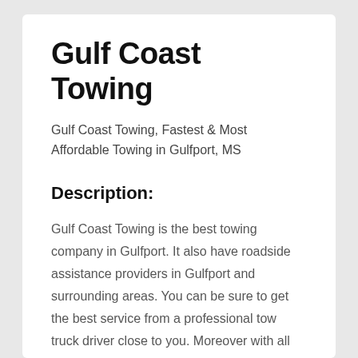Gulf Coast Towing
Gulf Coast Towing, Fastest & Most Affordable Towing in Gulfport, MS
Description:
Gulf Coast Towing is the best towing company in Gulfport. It also have roadside assistance providers in Gulfport and surrounding areas. You can be sure to get the best service from a professional tow truck driver close to you. Moreover with all the 24/7 tow services, tire changes, lockout services, and roadside assistance you're in need of. We offer all types of towing in Gulfport, Biloxi, or the surrounding areas.